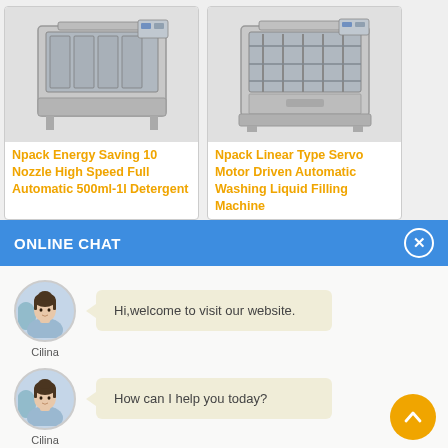[Figure (photo): Product card showing industrial liquid filling machine (Npack Energy Saving 10 Nozzle High Speed Full Automatic 500ml-1l Detergent)]
Npack Energy Saving 10 Nozzle High Speed Full Automatic 500ml-1l Detergent
[Figure (photo): Product card showing industrial washing liquid filling machine (Npack Linear Type Servo Motor Driven Automatic Washing Liquid Filling Machine)]
Npack Linear Type Servo Motor Driven Automatic Washing Liquid Filling Machine
ONLINE CHAT
Hi,welcome to visit our website.
Cilina
How can I help you today?
Cilina